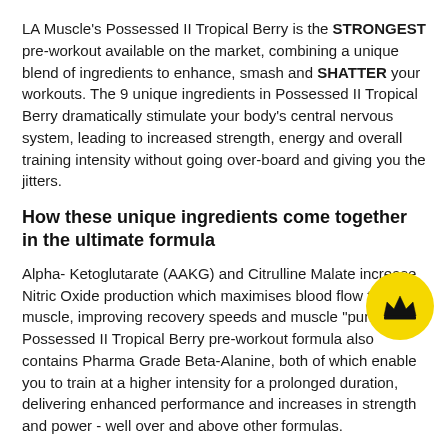LA Muscle's Possessed II Tropical Berry is the STRONGEST pre-workout available on the market, combining a unique blend of ingredients to enhance, smash and SHATTER your workouts. The 9 unique ingredients in Possessed II Tropical Berry dramatically stimulate your body's central nervous system, leading to increased strength, energy and overall training intensity without going over-board and giving you the jitters.
How these unique ingredients come together in the ultimate formula
Alpha- Ketoglutarate (AAKG) and Citrulline Malate increase Nitric Oxide production which maximises blood flow to the muscle, improving recovery speeds and muscle "pump". Possessed II Tropical Berry pre-workout formula also contains Pharma Grade Beta-Alanine, both of which enable you to train at a higher intensity for a prolonged duration, delivering enhanced performance and increases in strength and power - well over and above other formulas.
[Figure (illustration): Yellow circular badge with a black crown icon]
What's in the Possessed II Tropical Berry Pre-